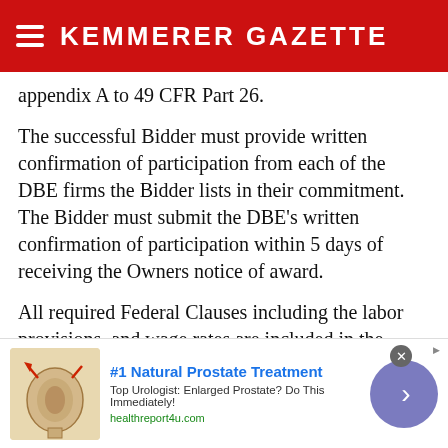KEMMERER GAZETTE
appendix A to 49 CFR Part 26.
The successful Bidder must provide written confirmation of participation from each of the DBE firms the Bidder lists in their commitment. The Bidder must submit the DBE's written confirmation of participation within 5 days of receiving the Owners notice of award.
All required Federal Clauses including the labor provisions, and wage rates are included in the specifications and bid documents. Each bidder must supply all of the information required by the
[Figure (infographic): Advertisement banner: '#1 Natural Prostate Treatment' with medical illustration of prostate, description 'Top Urologist: Enlarged Prostate? Do This Immediately!', URL 'healthreport4u.com', close button, and arrow button]